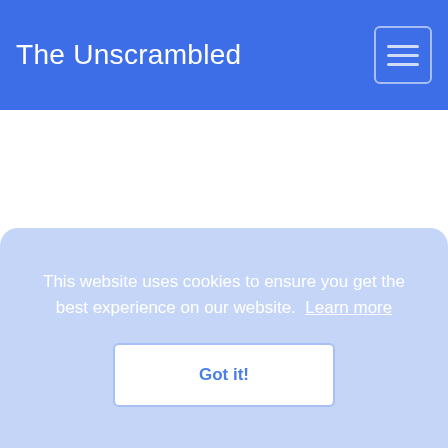The Unscrambled
This website uses cookies to ensure you get the best experience on our website. Learn more
Got it!